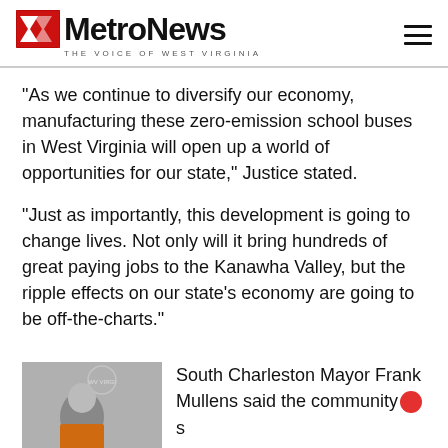MetroNews — THE VOICE OF WEST VIRGINIA
“As we continue to diversify our economy, manufacturing these zero-emission school buses in West Virginia will open up a world of opportunities for our state,” Justice stated.
“Just as importantly, this development is going to change lives. Not only will it bring hundreds of great paying jobs to the Kanawha Valley, but the ripple effects on our state’s economy are going to be off-the-charts.”
[Figure (photo): Photo of a person in an orange garment, with a West Virginia state seal visible in the background]
South Charleston Mayor Frank Mullens said the community’s ...he